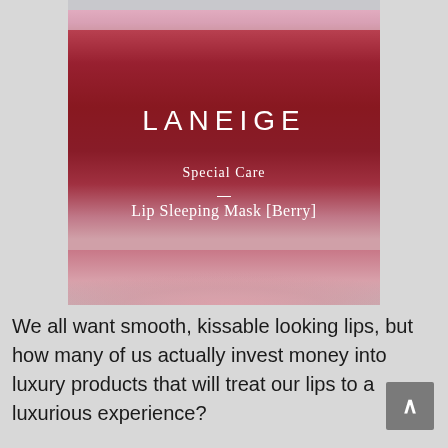[Figure (photo): Close-up photo of a Laneige Lip Sleeping Mask [Berry] product jar. The jar is round with dark berry/red coloring and a pink lid. White text on the jar reads: LANEIGE, Special Care, —, Lip Sleeping Mask [Berry].]
We all want smooth, kissable looking lips, but how many of us actually invest money into luxury products that will treat our lips to a luxurious experience?